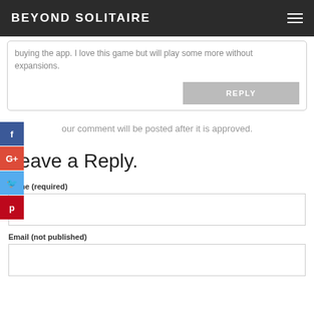BEYOND SOLITAIRE
buying the app. I love this game but will play some more without expansions.
REPLY
[Figure (infographic): Facebook share button (blue)]
[Figure (infographic): Google+ share button (red)]
[Figure (infographic): Twitter share button (blue)]
[Figure (infographic): Pinterest share button (red)]
our comment will be posted after it is approved.
Leave a Reply.
Name (required)
Email (not published)